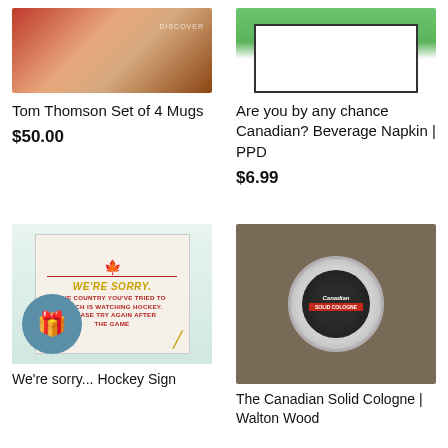[Figure (photo): Tom Thomson Set of 4 Mugs product image - decorative box with autumn leaf design]
Tom Thomson Set of 4 Mugs
$50.00
[Figure (photo): Are you by any chance Canadian? Beverage Napkin PPD product image - green background with white napkin]
Are you by any chance Canadian? Beverage Napkin | PPD
$6.99
[Figure (photo): Hockey sign reading WE'RE SORRY. THE COUNTRY YOU'VE TRIED TO REACH IS WATCHING HOCKEY. PLEASE TRY AGAIN AFTER THE GAME]
We're sorry... Hockey Sign
[Figure (photo): The Canadian Solid Cologne by Walton Wood - tin container with tools and grooming accessories on brown background]
The Canadian Solid Cologne | Walton Wood